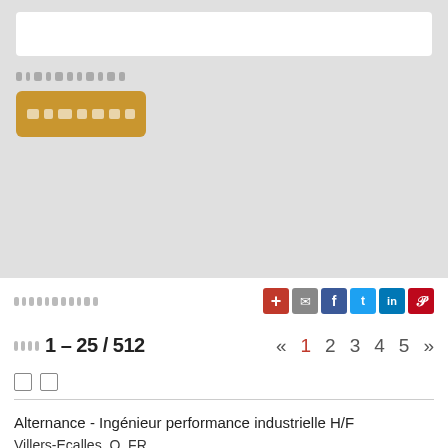[Figure (screenshot): Top gray search UI section with white search input box, blurred placeholder text, and a gold/orange search button with blurred label text]
[Figure (screenshot): Toolbar row with blurred navigation text and social sharing icons: plus (red), email (gray), Facebook (blue), Twitter (light blue), LinkedIn (blue), Pinterest (red)]
1 – 25 / 512
« 1 2 3 4 5 »
[Figure (screenshot): Two empty checkboxes]
Alternance - Ingénieur performance industrielle H/F
Villers-Ecalles, Q, FR
2022-7-31